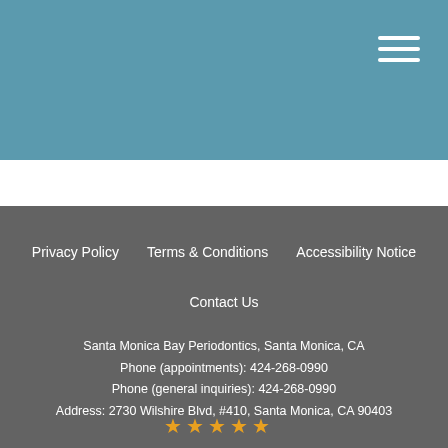[Figure (other): Teal/blue header bar with hamburger menu icon in top-right corner]
Privacy Policy
Terms & Conditions
Accessibility Notice
Contact Us
Santa Monica Bay Periodontics, Santa Monica, CA
Phone (appointments): 424-268-0990
Phone (general inquiries): 424-268-0990
Address: 2730 Wilshire Blvd, #410, Santa Monica, CA 90403
[Figure (other): Row of gold/yellow star rating icons at bottom]